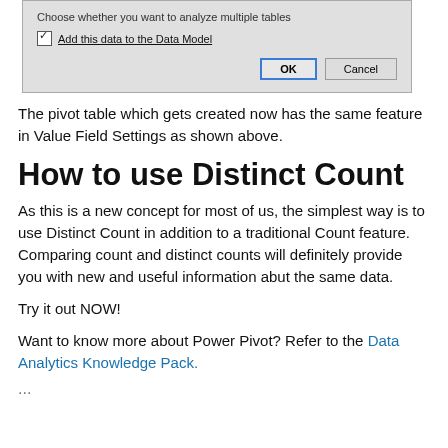[Figure (screenshot): Dialog box showing a checkbox 'Add this data to the Data Model' checked, with OK and Cancel buttons]
The pivot table which gets created now has the same feature in Value Field Settings as shown above.
How to use Distinct Count
As this is a new concept for most of us, the simplest way is to use Distinct Count in addition to a traditional Count feature. Comparing count and distinct counts will definitely provide you with new and useful information abut the same data.
Try it out NOW!
Want to know more about Power Pivot? Refer to the Data Analytics Knowledge Pack.
...